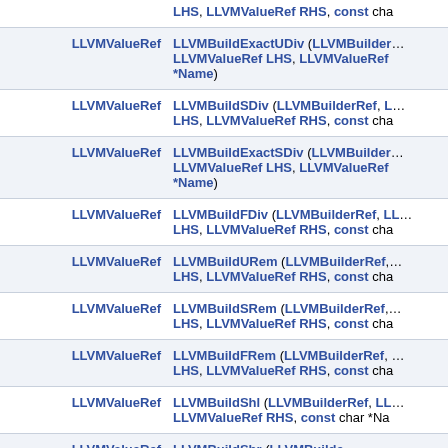| Return Type | Function Signature |
| --- | --- |
| LLVMValueRef | LHS, LLVMValueRef RHS, const char *Name) |
| LLVMValueRef | LLVMBuildExactUDiv (LLVMBuilderRef, LLVMValueRef LHS, LLVMValueRef *Name) |
| LLVMValueRef | LLVMBuildSDiv (LLVMBuilderRef, LLVMValueRef LHS, LLVMValueRef RHS, const char *Name) |
| LLVMValueRef | LLVMBuildExactSDiv (LLVMBuilderRef, LLVMValueRef LHS, LLVMValueRef *Name) |
| LLVMValueRef | LLVMBuildFDiv (LLVMBuilderRef, LLVMValueRef LHS, LLVMValueRef RHS, const char *Name) |
| LLVMValueRef | LLVMBuildURem (LLVMBuilderRef, LLVMValueRef LHS, LLVMValueRef RHS, const char *Name) |
| LLVMValueRef | LLVMBuildSRem (LLVMBuilderRef, LLVMValueRef LHS, LLVMValueRef RHS, const char *Name) |
| LLVMValueRef | LLVMBuildFRem (LLVMBuilderRef, LLVMValueRef LHS, LLVMValueRef RHS, const char *Name) |
| LLVMValueRef | LLVMBuildShl (LLVMBuilderRef, LLVMValueRef LHS, LLVMValueRef RHS, const char *Name) |
| LLVMValueRef | LLVMBuildShr (LLVMBuilderRef, ...) |